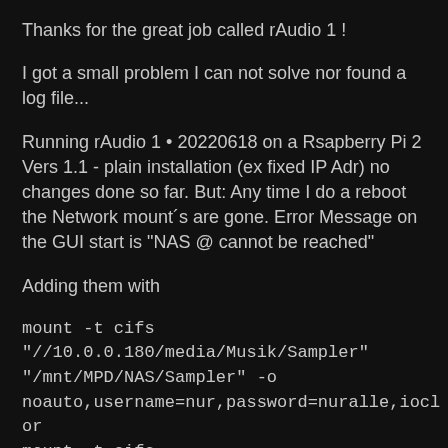Thanks for the great job called rAudio 1 !
I got a small problem I can not solve nor found a log file...
Running rAudio 1 • 20220618 on a Rsapberry Pi 2 Vers 1.1 - plain installation (ex fixed IP Adr) no changes done so far. But: Any time I do a reboot the Network mount´s are gone. Error Message on the GUI start is "NAS @ cannot be reached"
Adding them with
mount -t cifs
"//10.0.0.180/media/Musik/Sampler"
"/mnt/MPD/NAS/Sampler" -o
noauto,username=nur,password=nuralle,ioclor
mount -t cifs